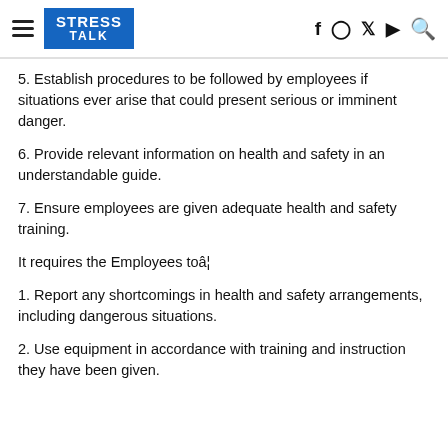STRESS TALK
5. Establish procedures to be followed by employees if situations ever arise that could present serious or imminent danger.
6. Provide relevant information on health and safety in an understandable guide.
7. Ensure employees are given adequate health and safety training.
It requires the Employees toâ¦
1. Report any shortcomings in health and safety arrangements, including dangerous situations.
2. Use equipment in accordance with training and instruction they have been given.